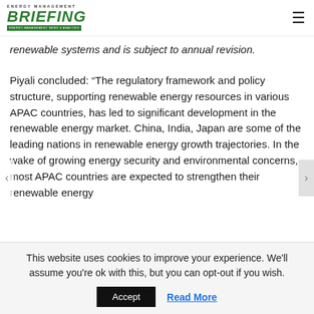ENERGY MANAGEMENT BRIEFING — Energy Management News & Analysis
renewable systems and is subject to annual revision.
Piyali concluded: “The regulatory framework and policy structure, supporting renewable energy resources in various APAC countries, has led to significant development in the renewable energy market. China, India, Japan are some of the leading nations in renewable energy growth trajectories. In the wake of growing energy security and environmental concerns, most APAC countries are expected to strengthen their renewable energy
This website uses cookies to improve your experience. We'll assume you're ok with this, but you can opt-out if you wish.
Accept   Read More